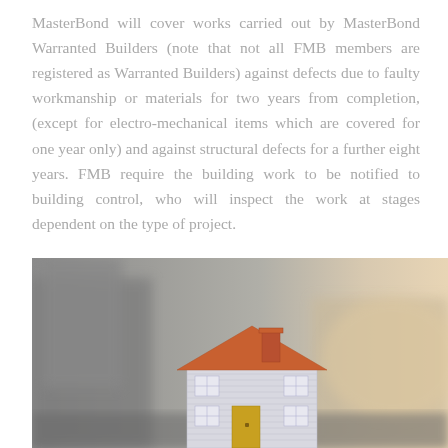MasterBond will cover works carried out by MasterBond Warranted Builders (note that not all FMB members are registered as Warranted Builders) against defects due to faulty workmanship or materials for two years from completion, (except for electro-mechanical items which are covered for one year only) and against structural defects for a further eight years. FMB require the building work to be notified to building control, who will inspect the work at stages dependent on the type of project.
[Figure (photo): A miniature model house with a white/grey facade and orange/red roof with chimney, photographed against a blurred urban background with warm sunset light on the right side.]